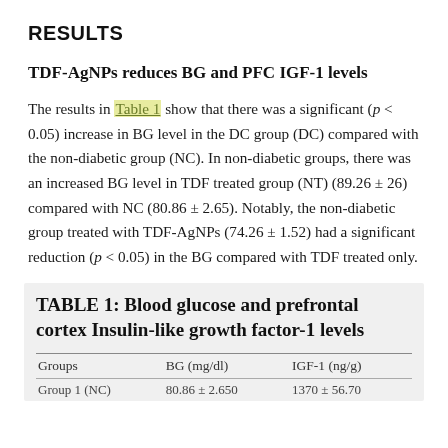RESULTS
TDF-AgNPs reduces BG and PFC IGF-1 levels
The results in Table 1 show that there was a significant (p < 0.05) increase in BG level in the DC group (DC) compared with the non-diabetic group (NC). In non-diabetic groups, there was an increased BG level in TDF treated group (NT) (89.26 ± 26) compared with NC (80.86 ± 2.65). Notably, the non-diabetic group treated with TDF-AgNPs (74.26 ± 1.52) had a significant reduction (p < 0.05) in the BG compared with TDF treated only.
TABLE 1: Blood glucose and prefrontal cortex Insulin-like growth factor-1 levels
| Groups | BG (mg/dl) | IGF-1 (ng/g) |
| --- | --- | --- |
| Group 1 (NC) | 80.86 ± 2.650 | 1370 ± 56.70 |